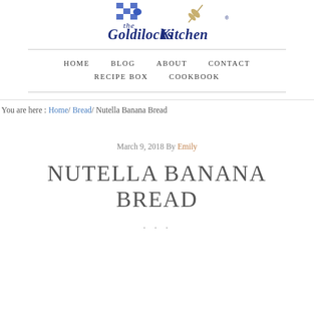[Figure (logo): Goldilocks Kitchen logo with script text and decorative blue checked bow and wheat/feather elements]
HOME   BLOG   ABOUT   CONTACT   RECIPE BOX   COOKBOOK
You are here : Home/ Bread/ Nutella Banana Bread
March 9, 2018 By Emily
NUTELLA BANANA BREAD